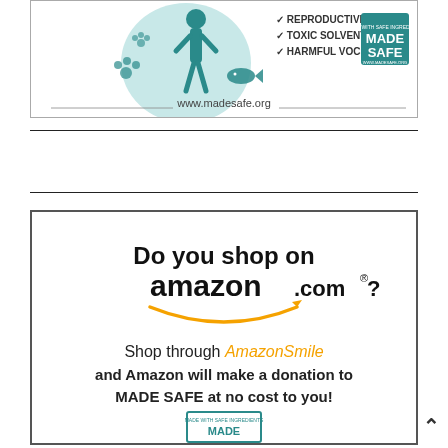[Figure (infographic): MADE SAFE ad showing human silhouette, paw prints, and fish icons with checkmarks for Reproductive Toxins, Toxic Solvents, Harmful VOCs, and MADE SAFE logo with www.madesafe.org]
Tweets by @madesafehq
[Figure (infographic): AmazonSmile ad: 'Do you shop on amazon.com? Shop through AmazonSmile and Amazon will make a donation to MADE SAFE at no cost to you!' with MADE SAFE logo at bottom]